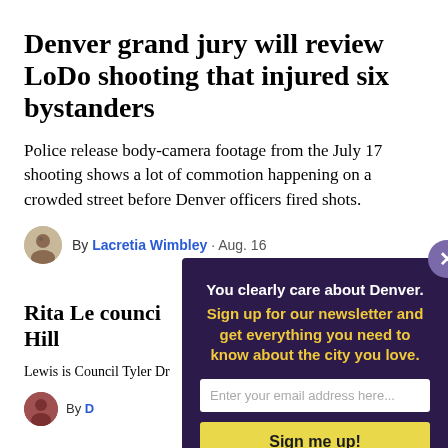Denver grand jury will review LoDo shooting that injured six bystanders
Police release body-camera footage from the July 17 shooting shows a lot of commotion happening on a crowded street before Denver officers fired shots.
By Lacretia Wimbley · Aug. 16
Rita Le council Hill
Lewis is Council Tyler Dr
By D
[Figure (infographic): Newsletter signup modal overlay on dark purple background with close button. Text: 'You clearly care about Denver. Sign up for our newsletter and get everything you need to know about the city you love.' Email input field and yellow 'Sign me up!' button.]